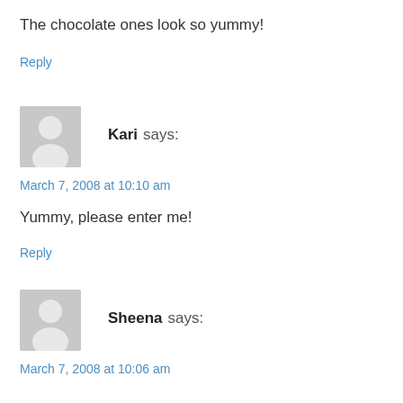The chocolate ones look so yummy!
Reply
[Figure (illustration): Generic user avatar silhouette on grey background]
Kari says:
March 7, 2008 at 10:10 am
Yummy, please enter me!
Reply
[Figure (illustration): Generic user avatar silhouette on grey background]
Sheena says:
March 7, 2008 at 10:06 am